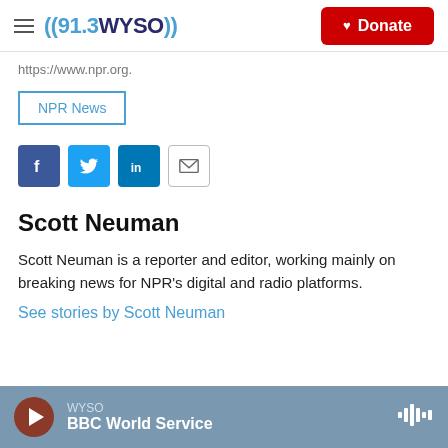((91.3 WYSO)) Donate
https://www.npr.org.
NPR News
[Figure (other): Social sharing icons: Facebook, Twitter, LinkedIn, Email]
Scott Neuman
Scott Neuman is a reporter and editor, working mainly on breaking news for NPR's digital and radio platforms.
See stories by Scott Neuman
WYSO BBC World Service